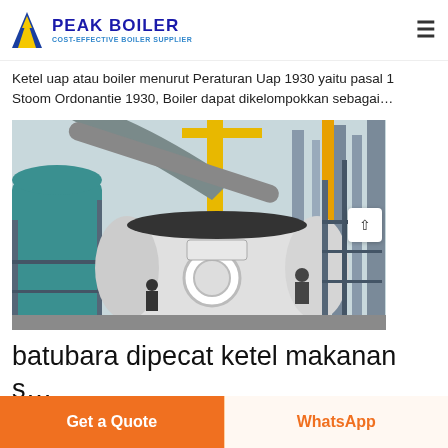PEAK BOILER — COST-EFFECTIVE BOILER SUPPLIER
Ketel uap atau boiler menurut Peraturan Uap 1930 yaitu pasal 1 Stoom Ordonantie 1930, Boiler dapat dikelompokkan sebagai…
[Figure (photo): Industrial boiler installation site with large pipes, cranes, and workers; a white horizontal boiler unit is visible in the center foreground amid scaffolding and industrial equipment.]
batubara dipecat ketel makanan s…
Get a Quote
WhatsApp